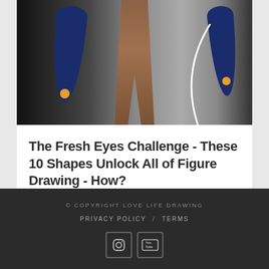[Figure (illustration): Illustration showing two dark blue leaf/limb shapes with yellow dots at bottom, and human legs in the center on a dark gradient background with a white curved line element.]
The Fresh Eyes Challenge - These 10 Shapes Unlock All of Figure Drawing - How?
© COPYRIGHT LOVE LIFE DRAWING
PRIVACY POLICY / TERMS